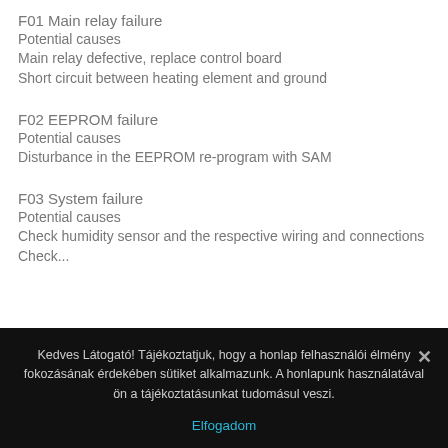F01 Main relay failure
Potential causes
Main relay defective, replace control board
Short circuit between heating element and ground
F02 EEPROM failure
Potential causes
Disturbance in the EEPROM re-program with SAM
F03 System failure
Potential causes
Check humidity sensor and the respective wiring and connections
Check... (partially visible)
Kedves Látogató! Tájékoztatjuk, hogy a honlap felhasználói élmény fokozásának érdekében sütiket alkalmazunk. A honlapunk használatával ön a tájékoztatásunkat tudomásul veszi.
Elfogadom